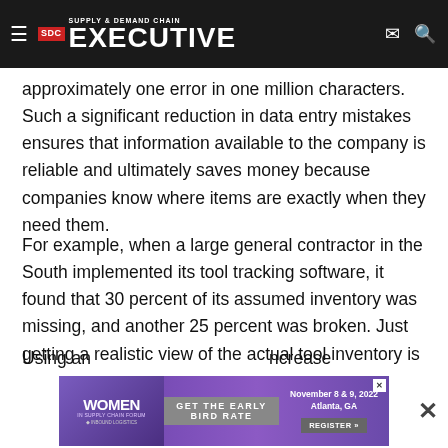Supply & Demand Chain Executive
approximately one error in one million characters. Such a significant reduction in data entry mistakes ensures that information available to the company is reliable and ultimately saves money because companies know where items are exactly when they need them.
For example, when a large general contractor in the South implemented its tool tracking software, it found that 30 percent of its assumed inventory was missing, and another 25 percent was broken. Just getting a realistic view of the actual tool inventory is a valuable result of a tool tracking software purchase.
Using an... increase
[Figure (infographic): Advertisement banner for Women in Supply Chain Forum, November 8 & 9, 2022, Atlanta, GA with 'Get the Early Bird Rate' CTA and Register button]